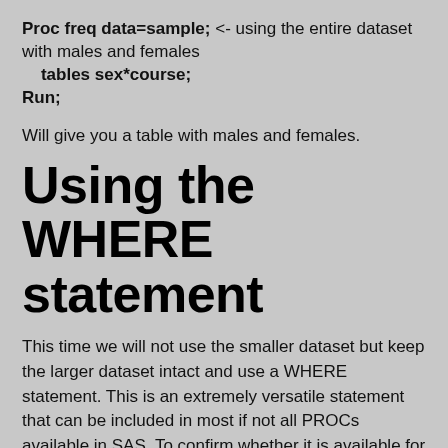Proc freq data=sample;  <- using the entire dataset with males and females
    tables sex*course;
Run;
Will give you a table with males and females.
Using the WHERE statement
This time we will not use the smaller dataset but keep the larger dataset intact and use a WHERE statement.  This is an extremely versatile statement that can be included in most if not all PROCs available in SAS.  To confirm whether it is available for the PROC you are working with,